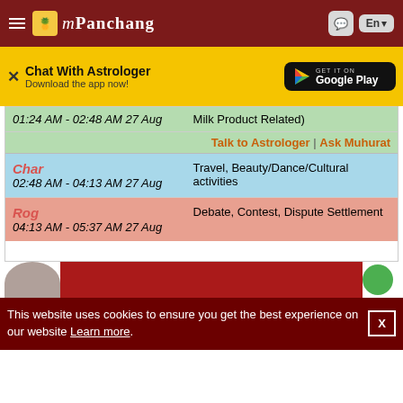mPanchang
[Figure (screenshot): Chat With Astrologer ad banner with Google Play download button]
| Kalam / Time | Activity |
| --- | --- |
| 01:24 AM - 02:48 AM 27 Aug | Milk Product Related) |
| Talk to Astrologer | Ask Muhurat |  |
| Char
02:48 AM - 04:13 AM 27 Aug | Travel, Beauty/Dance/Cultural activities |
| Rog
04:13 AM - 05:37 AM 27 Aug | Debate, Contest, Dispute Settlement |
This website uses cookies to ensure you get the best experience on our website Learn more.